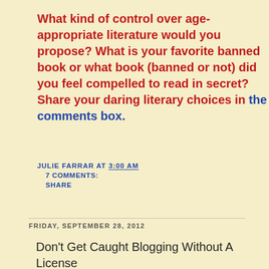What kind of control over age-appropriate literature would you propose?  What is your favorite banned book or what book (banned or not) did you feel compelled to read in secret?  Share your daring literary choices in the comments box.
JULIE FARRAR AT 3:00 AM
7 COMMENTS:
SHARE
FRIDAY, SEPTEMBER 28, 2012
Don't Get Caught Blogging Without A License